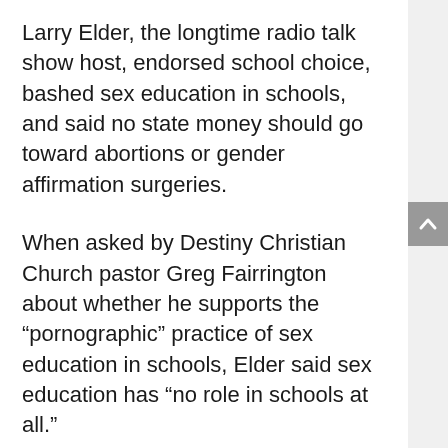Larry Elder, the longtime radio talk show host, endorsed school choice, bashed sex education in schools, and said no state money should go toward abortions or gender affirmation surgeries.
When asked by Destiny Christian Church pastor Greg Fairrington about whether he supports the “pornographic” practice of sex education in schools, Elder said sex education has “no role in schools at all.”
He also said transgender athletes should not be able to compete in sports according to their identity, nor should